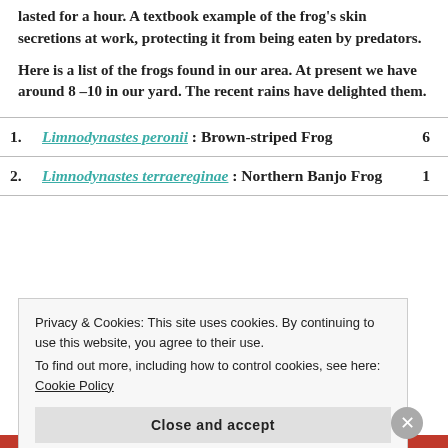lasted for a hour. A textbook example of the frog's skin secretions at work, protecting it from being eaten by predators.
Here is a list of the frogs found in our area. At present we have around 8 –10 in our yard. The recent rains have delighted them.
Limnodynastes peronii : Brown-striped Frog   6
Limnodynastes terraereginae : Northern Banjo Frog   1
Privacy & Cookies: This site uses cookies. By continuing to use this website, you agree to their use. To find out more, including how to control cookies, see here: Cookie Policy